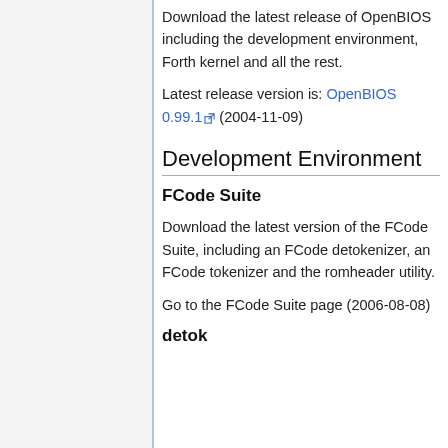Download the latest release of OpenBIOS including the development environment, Forth kernel and all the rest.
Latest release version is: OpenBIOS 0.99.1 (2004-11-09)
Development Environment
FCode Suite
Download the latest version of the FCode Suite, including an FCode detokenizer, an FCode tokenizer and the romheader utility.
Go to the FCode Suite page (2006-08-08)
detok